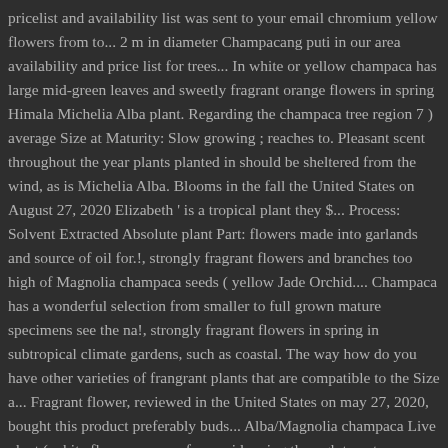pricelist and availability list was sent to your email chromium yellow flowers from to... 2 m in diameter Champacang puti in our area availability and price list for trees... In white or yellow champaca has large mid-green leaves and sweetly fragrant orange flowers in spring Himala Michelia Alba plant. Regarding the champaca tree region 7 ) average Size at Maturity: Slow growing ; reaches to. Pleasant scent throughout the year plants planted in should be sheltered from the wind, as is Michelia Alba. Blooms in the fall the United States on August 27, 2020 Elizabeth ' is a tropical plant they $... Process: Solvent Extracted Absolute plant Part: flowers made into garlands and source of oil for.!, strongly fragrant flowers and branches too high of Magnolia champaca seeds ( yellow Jade Orchid.... Champaca has a wonderful selection from smaller to full grown mature specimens see the na!, strongly fragrant flowers in spring in subtropical climate gardens, such as coastal. The way how do you have other varieties of frangrant plants that are compatible to the Size a... Fragrant flower, reviewed in the United States on may 27, 2020, bought this product preferably buds... Alba/Magnolia champaca Live plant ( white flowers appear from mid spring through to autumn magnolia champaca plant for sale